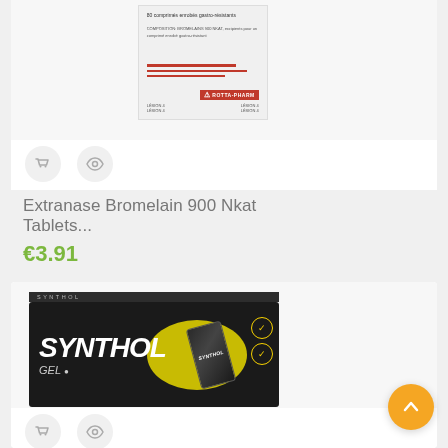[Figure (photo): Medicine box - Extranase Bromelain product, white box with red stripes and warning symbol, pharmacy product]
Extranase Bromelain 900 Nkat Tablets...
€3.91
[Figure (photo): Synthol Gel box - black packaging with yellow ellipse design, tube/can of Synthol Gel]